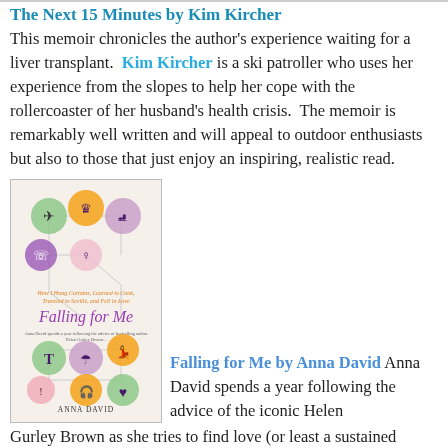The Next 15 Minutes by Kim Kircher
This memoir chronicles the author's experience waiting for a liver transplant. Kim Kircher is a ski patroller who uses her experience from the slopes to help her cope with the rollercoaster of her husband's health crisis. The memoir is remarkably well written and will appeal to outdoor enthusiasts but also to those that just enjoy an inspiring, realistic read.
[Figure (photo): Book cover of 'Falling for Me' by Anna David, featuring colorful circular icons connected by lines depicting various activities and lifestyle icons.]
Falling for Me by Anna David Anna David spends a year following the advice of the iconic Helen Gurley Brown as she tries to find love (or least a sustained relationship) in the city. This memoir hit close to home in